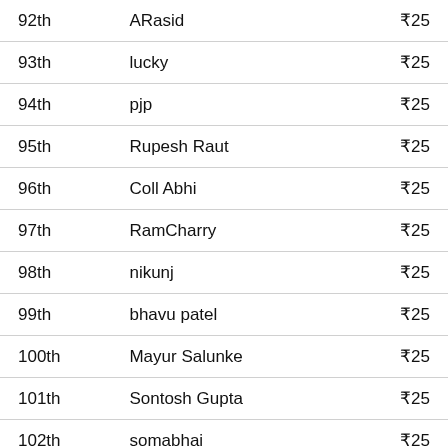| Rank | Name | Prize |
| --- | --- | --- |
| 92th | ARasid | ₹25 |
| 93th | lucky | ₹25 |
| 94th | pjp | ₹25 |
| 95th | Rupesh Raut | ₹25 |
| 96th | Coll Abhi | ₹25 |
| 97th | RamCharry | ₹25 |
| 98th | nikunj | ₹25 |
| 99th | bhavu patel | ₹25 |
| 100th | Mayur Salunke | ₹25 |
| 101th | Sontosh Gupta | ₹25 |
| 102th | somabhai | ₹25 |
| 103th | Sagar Amle | ₹25 |